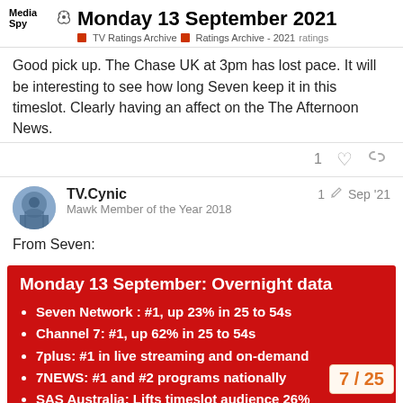Monday 13 September 2021 — TV Ratings Archive · Ratings Archive - 2021 · ratings
Good pick up. The Chase UK at 3pm has lost pace. It will be interesting to see how long Seven keep it in this timeslot. Clearly having an affect on the The Afternoon News.
TV.Cynic
Mawk Member of the Year 2018
1 ✏ Sep '21
From Seven:
[Figure (infographic): Red box with white text listing Monday 13 September overnight data bullet points for Seven Network]
7 / 25